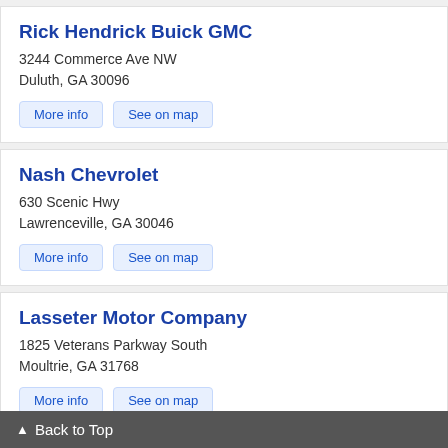Rick Hendrick Buick GMC
3244 Commerce Ave NW
Duluth, GA 30096
More info | See on map
Nash Chevrolet
630 Scenic Hwy
Lawrenceville, GA 30046
More info | See on map
Lasseter Motor Company
1825 Veterans Parkway South
Moultrie, GA 31768
More info | See on map
Carl Black GMC Buick
11225 Alpharetta Hwy
Roswell, GA 30076
▲ Back to Top